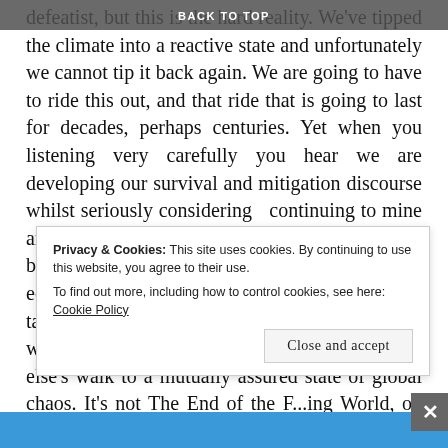BACK TO TOP
defeatist, but this is the hard reality. We've tipped the climate into a reactive state and unfortunately we cannot tip it back again. We are going to have to ride this out, and that ride that is going to last for decades, perhaps centuries. Yet when you listening very carefully you hear we are developing our survival and mitigation discourse whilst seriously considering  continuing to mine and burn, and pump and burn, and frack and burn, and cut and burn, and expand and grow economies, and maintain political viabilities, and talk the greatest talk that's ever been talked, while we all hoodwinkingly walk somebody else's walk to a mutually assured state of global chaos. It's not The End of the F...ing World, oh no people, it's much
Privacy & Cookies: This site uses cookies. By continuing to use this website, you agree to their use.
To find out more, including how to control cookies, see here: Cookie Policy
Close and accept